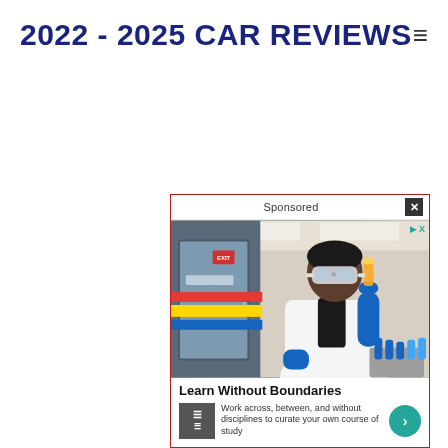2022 - 2025 CAR REVIEWS
[Figure (photo): Sponsored advertisement showing a scientist/student in a lab coat and safety goggles holding a sample vial in a laboratory setting. Below the image is the text 'Learn Without Boundaries' with a description 'Work across, between, and without disciplines to curate your own course of study' and a teal arrow button.]